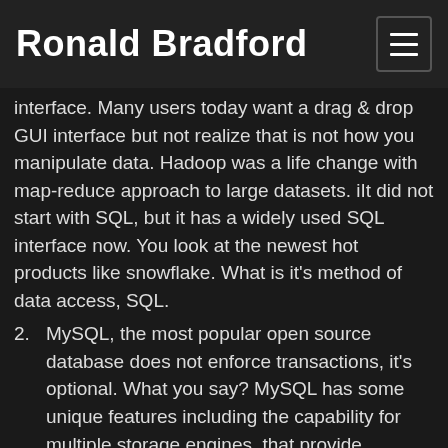Ronald Bradford
interface. Many users today want a drag & drop GUI interface but not realize that is not how you manipulate data. Hadoop was a life change with map-reduce approach to large datasets. iIt did not start with SQL, but it has a widely used SQL interface now. You look at the newest hot products like snowflake. What is it's method of data access, SQL.
2. MySQL, the most popular open source database does not enforce transactions, it's optional. What you say? MySQL has some unique features including the capability for multiple storage engines, that provide different features and capabilities, such as index approaches, consistency and support for transactions. An entire generation of open source products were released and do not use transactions, but use a transactional storage engine within a transactional product.
3. Still on the topic of MySQL, it also does not enforce strict handling like other RDBMS products. The default for decades was to enable an SQL statement to corrupt the data integrity, i.e. C – Consistency. Because MySQL